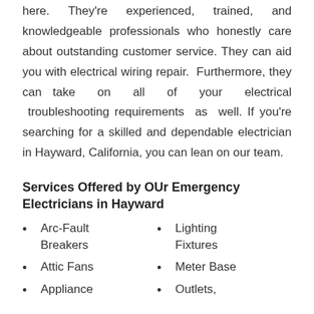here. They're experienced, trained, and knowledgeable professionals who honestly care about outstanding customer service. They can aid you with electrical wiring repair. Furthermore, they can take on all of your electrical troubleshooting requirements as well. If you're searching for a skilled and dependable electrician in Hayward, California, you can lean on our team.
Services Offered by OUr Emergency Electricians in Hayward
Arc-Fault Breakers
Lighting Fixtures
Attic Fans
Meter Base
Appliance
Outlets,